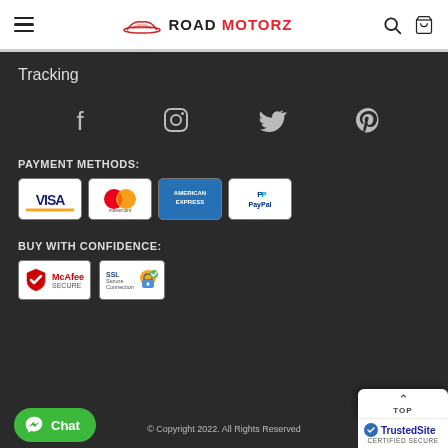Road Motorz - Navigation header with hamburger menu, logo, search and cart icons
Tracking
[Figure (infographic): Social media icons: Facebook, Instagram, Twitter, Pinterest on dark background]
PAYMENT METHODS:
[Figure (infographic): Payment method logos: Visa, Mastercard, American Express, PayPal]
BUY WITH CONFIDENCE:
[Figure (infographic): Trust badges: McAfee Secure and SSL Secure Connection]
© Copyright 2022. All Rights Reserved
[Figure (infographic): WhatsApp Chat button (green), TOP scroll button, TrustedSite Certified Secure badge]